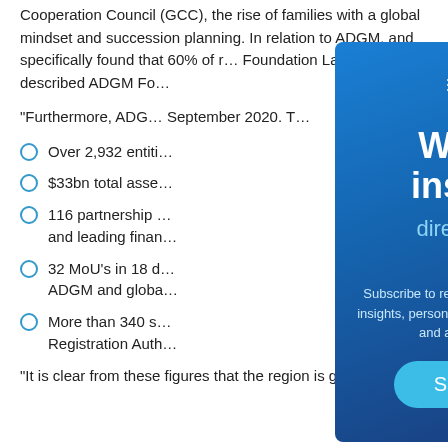Cooperation Council (GCC), the rise of families with a global mindset and succession planning. In relation to ADGM, and specifically found that 60% of respondents, Foundation Law would and described ADGM Foundation Law as...
"Furthermore, ADGM... September 2020. T...
Over 2,932 entities registered
$33bn total assets under management
116 partnership agreements with top tier and leading financial institutions
32 MoU's in 18 different countries, linking ADGM and global financial hubs
More than 340 staff at the Financial Services Registration Authority
"It is clear from these figures that the region is growing
[Figure (screenshot): Weekly insights newsletter subscription modal popup with laptop/email icon, title 'Weekly insights', subtitle 'direct to your inbox', subscription description text, and a Subscribe button. Blue gradient background with X close button.]